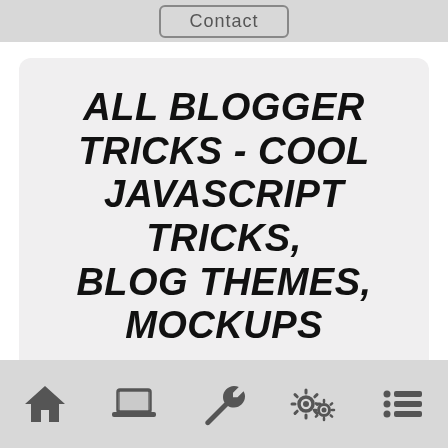Contact
ALL BLOGGER TRICKS - COOL JAVASCRIPT TRICKS, BLOG THEMES, MOCKUPS
Navigation icons: home, laptop, wrench, settings, list